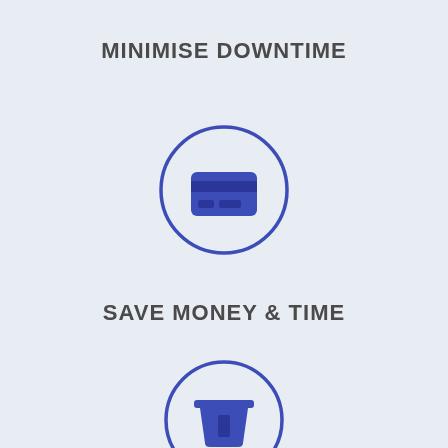MINIMISE DOWNTIME
[Figure (illustration): Circle outline with a credit card icon inside, in dark blue/indigo color on light blue background]
SAVE MONEY & TIME
[Figure (illustration): Circle outline with a bucket/bin icon inside, in dark blue/indigo color on light blue background]